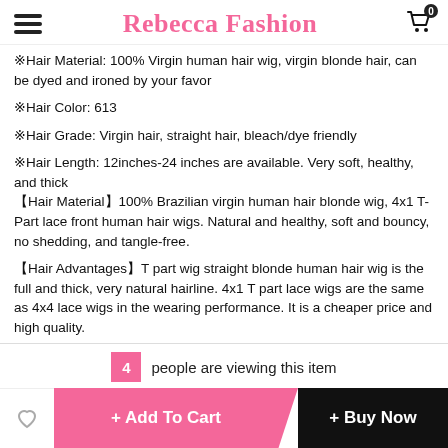Rebecca Fashion
※Hair Material: 100% Virgin human hair wig, virgin blonde hair, can be dyed and ironed by your favor
※Hair Color: 613
※Hair Grade: Virgin hair, straight hair, bleach/dye friendly
※Hair Length: 12inches-24 inches are available. Very soft, healthy, and thick
【Hair Material】100% Brazilian virgin human hair blonde wig, 4x1 T-Part lace front human hair wigs. Natural and healthy, soft and bouncy, no shedding, and tangle-free.
【Hair Advantages】T part wig straight blonde human hair wig is the full and thick, very natural hairline. 4x1 T part lace wigs are the same as 4x4 lace wigs in the wearing performance. It is a cheaper price and high quality.
4 people are viewing this item